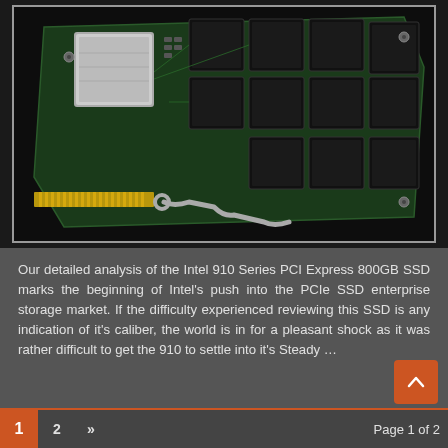[Figure (photo): Photo of Intel 910 Series PCI Express SSD circuit board with multiple NAND flash chips on a green PCB, photographed against a dark background. A small metal bracket is visible in the lower portion.]
Our detailed analysis of the Intel 910 Series PCI Express 800GB SSD marks the beginning of Intel's push into the PCIe SSD enterprise storage market. If the difficulty experienced reviewing this SSD is any indication of it's caliber, the world is in for a pleasant shock as it was rather difficult to get the 910 to settle into it's Steady ...
1  2  »  Page 1 of 2